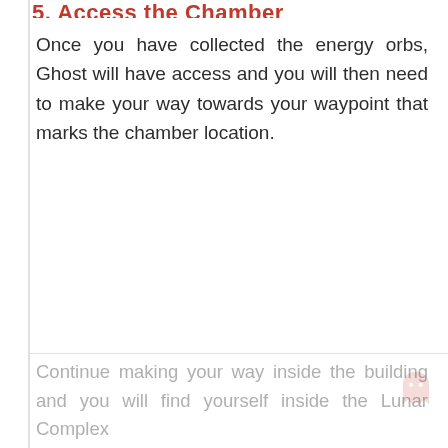5. Access the Chamber
Once you have collected the energy orbs, Ghost will have access and you will then need to make your way towards your waypoint that marks the chamber location.
Continue making your way inside the building and you will find yourself inside the Lunar Complex